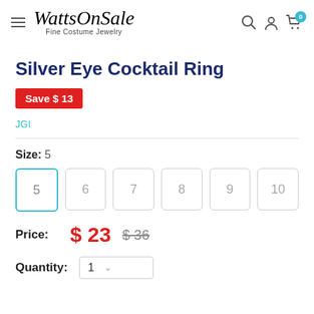WattsOnSale Fine Costume Jewelry
Silver Eye Cocktail Ring
Save $ 13
JGI
Size: 5
Price: $ 23  $ 36
Quantity: 1